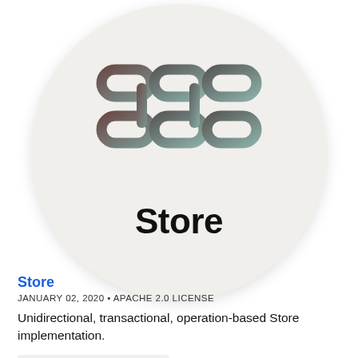[Figure (logo): Store app logo: circular light grey background with an interlocking chain-link style icon in dark brown/grey gradient tones, and the word 'Store' in bold black text below the icon]
Store
JANUARY 02, 2020 • APACHE 2.0 LICENSE
Unidirectional, transactional, operation-based Store implementation.
Learn More